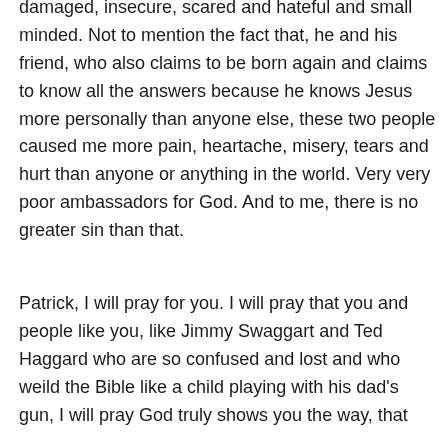damaged, insecure, scared and hateful and small minded. Not to mention the fact that, he and his friend, who also claims to be born again and claims to know all the answers because he knows Jesus more personally than anyone else, these two people caused me more pain, heartache, misery, tears and hurt than anyone or anything in the world. Very very poor ambassadors for God. And to me, there is no greater sin than that.
Patrick, I will pray for you. I will pray that you and people like you, like Jimmy Swaggart and Ted Haggard who are so confused and lost and who weild the Bible like a child playing with his dad's gun, I will pray God truly shows you the way, that